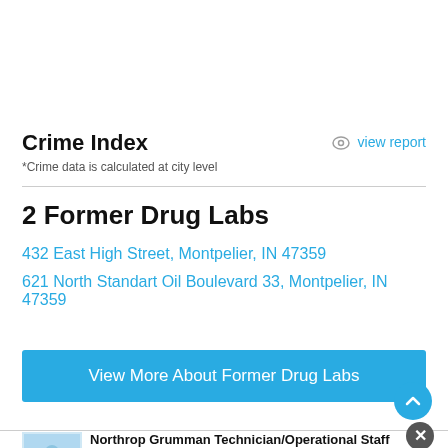Crime Index
*Crime data is calculated at city level
2 Former Drug Labs
432 East High Street, Montpelier, IN 47359
621 North Standart Oil Boulevard 33, Montpelier, IN 47359
View More About Former Drug Labs
Northrop Grumman Technician/Operational Staff Job...
Sponsored